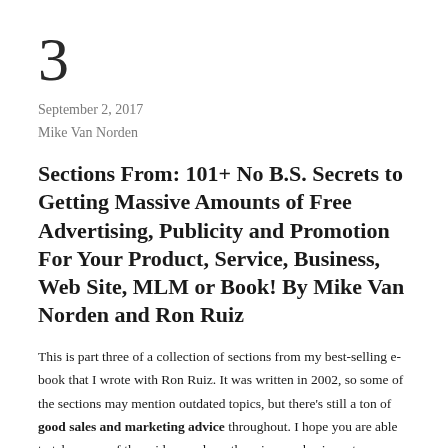3
September 2, 2017
Mike Van Norden
Sections From: 101+ No B.S. Secrets to Getting Massive Amounts of Free Advertising, Publicity and Promotion For Your Product, Service, Business, Web Site, MLM or Book! By Mike Van Norden and Ron Ruiz
This is part three of a collection of sections from my best-selling e-book that I wrote with Ron Ruiz. It was written in 2002, so some of the sections may mention outdated topics, but there's still a ton of good sales and marketing advice throughout. I hope you are able to take some of these ideas and use them in your business to